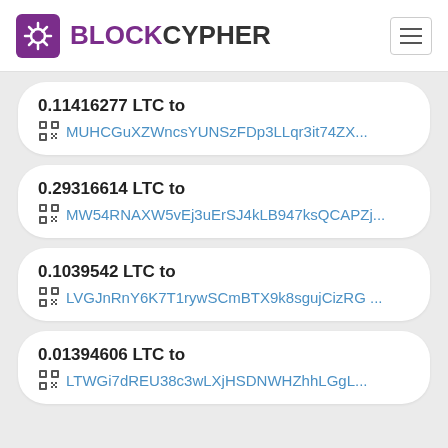BLOCKCYPHER
0.11416277 LTC to MUHCGuXZWncsYUNSzFDp3LLqr3it74ZX...
0.29316614 LTC to MW54RNAXW5vEj3uErSJ4kLB947ksQCAPZj...
0.1039542 LTC to LVGJnRnY6K7T1rywSCmBTX9k8sgujCizRG ...
0.01394606 LTC to LTWGi7dREU38c3wLXjHSDNWHZhhLGgL...